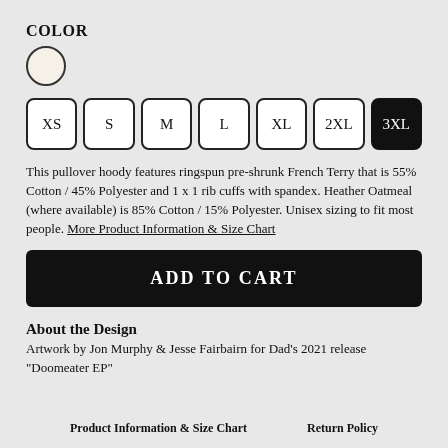COLOR
[Figure (other): A single color swatch circle in a creamy off-white/oatmeal color with a dark outline border, indicating selected color option.]
XS
S
M
L
XL
2XL
3XL
This pullover hoody features ringspun pre-shrunk French Terry that is 55% Cotton / 45% Polyester and 1 x 1 rib cuffs with spandex. Heather Oatmeal (where available) is 85% Cotton / 15% Polyester. Unisex sizing to fit most people. More Product Information & Size Chart
ADD TO CART
About the Design
Artwork by Jon Murphy & Jesse Fairbairn for Dad's 2021 release "Doomeater EP"
Product Information & Size Chart     Return Policy